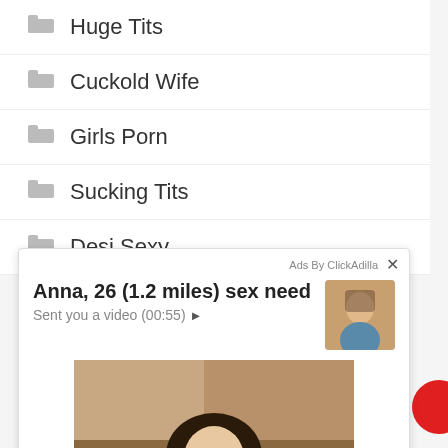Huge Tits
Cuckold Wife
Girls Porn
Sucking Tits
Desi Sexy
[Figure (other): Advertisement overlay from ClickAdilla showing 'Anna, 26 (1.2 miles) sex need' with 'Sent you a video (00:55)' and a photo of a young woman with long dark hair wearing a light blue crop top, sitting in a car. Thumbnail image in top right corner. Close X button. 'Ads By ClickAdilla' label. '2md' timestamp.]